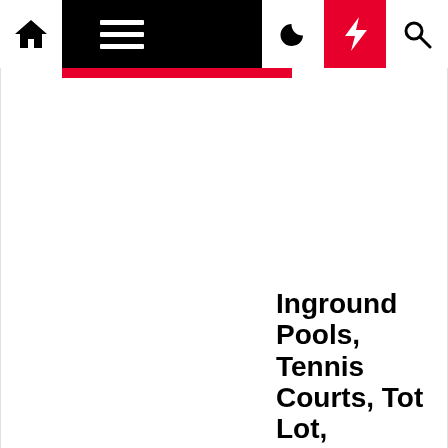Navigation bar with home, hamburger menu, moon/dark mode, lightning bolt (breaking news), and search icons
Inground Pools, Tennis Courts, Tot Lot, Basketball Court and Gazebo:
Few pools have more beautiful settings than those at Society Hill